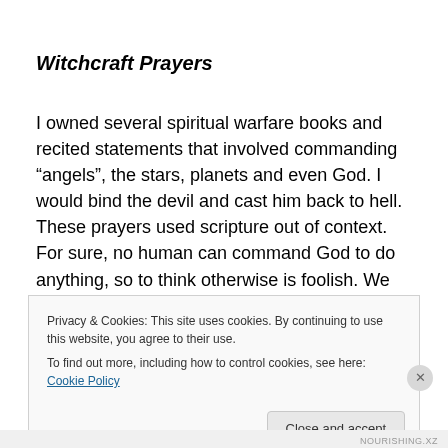Witchcraft Prayers
I owned several spiritual warfare books and recited statements that involved commanding “angels”, the stars, planets and even God. I would bind the devil and cast him back to hell. These prayers used scripture out of context. For sure, no human can command God to do anything, so to think otherwise is foolish. We lie to ourselves if we think God is at our beck and call.
Privacy & Cookies: This site uses cookies. By continuing to use this website, you agree to their use.
To find out more, including how to control cookies, see here: Cookie Policy
Close and accept